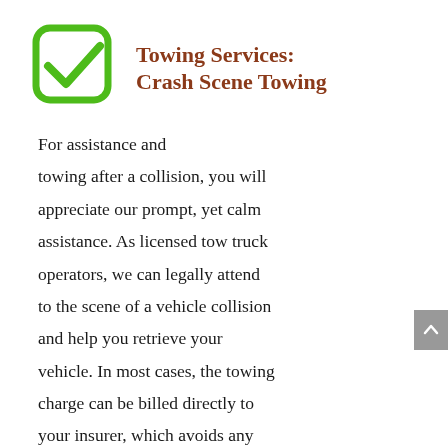Towing Services: Crash Scene Towing
For assistance and towing after a collision, you will appreciate our prompt, yet calm assistance. As licensed tow truck operators, we can legally attend to the scene of a vehicle collision and help you retrieve your vehicle. In most cases, the towing charge can be billed directly to your insurer, which avoids any